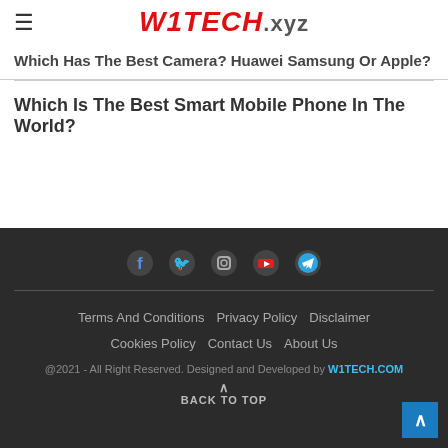W1TECH.xyz
Which Has The Best Camera? Huawei Samsung Or Apple?
Which Is The Best Smart Mobile Phone In The World?
[Figure (infographic): Social media icons: Facebook, Twitter, Instagram, YouTube, Telegram]
Terms And Conditions  Privacy Policy  Disclaimer  Cookies Policy  Contact Us  About Us
@2021 - All Right Reserved. Designed and Developed by W1TECH.COM
BACK TO TOP